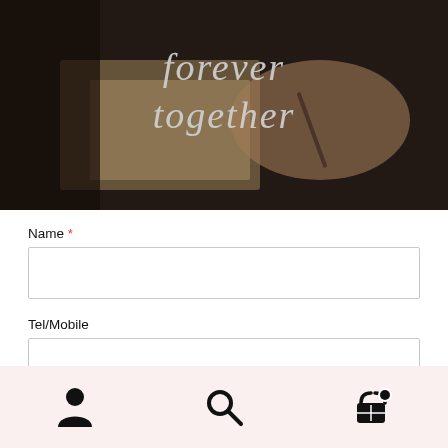[Figure (photo): Hands writing calligraphy on paper with text 'forever together' in white cursive overlay on a dark background]
Name *
Tel/Mobile
Email *
Comment or Message *